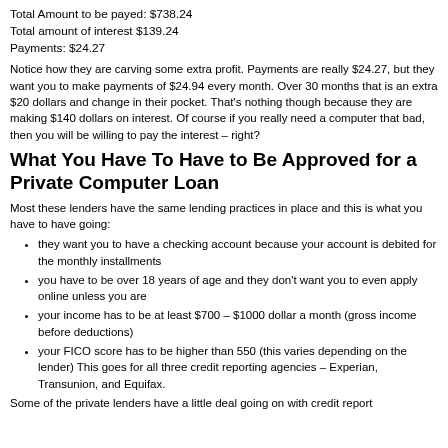Total Amount to be payed: $738.24
Total amount of interest $139.24
Payments: $24.27
Notice how they are carving some extra profit. Payments are really $24.27, but they want you to make payments of $24.94 every month. Over 30 months that is an extra $20 dollars and change in their pocket. That's nothing though because they are making $140 dollars on interest. Of course if you really need a computer that bad, then you will be willing to pay the interest – right?
What You Have To Have to Be Approved for a Private Computer Loan
Most these lenders have the same lending practices in place and this is what you have to have going:
they want you to have a checking account because your account is debited for the monthly installments
you have to be over 18 years of age and they don't want you to even apply online unless you are
your income has to be at least $700 – $1000 dollar a month (gross income before deductions)
your FICO score has to be higher than 550 (this varies depending on the lender) This goes for all three credit reporting agencies – Experian, Transunion, and Equifax.
Some of the private lenders have a little deal going on with credit report...